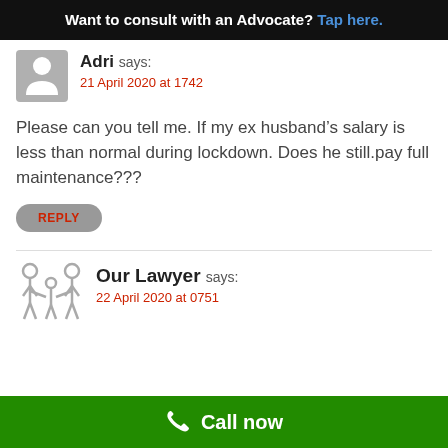Want to consult with an Advocate? Tap here.
Adri says:
21 April 2020 at 1742
Please can you tell me. If my ex husband’s salary is less than normal during lockdown. Does he still.pay full maintenance???
REPLY
Our Lawyer says:
22 April 2020 at 0751
Call now